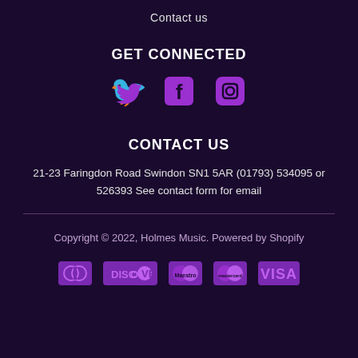Contact us
GET CONNECTED
[Figure (infographic): Three social media icons: Twitter bird, Facebook f, Instagram camera — all in purple]
CONTACT US
21-23 Faringdon Road Swindon SN1 5AR (01793) 534095 or 526393 See contact form for email
Copyright © 2022, Holmes Music. Powered by Shopify
[Figure (infographic): Payment method icons: Diners Club, Discover, Maestro, Mastercard, Visa — all in purple]